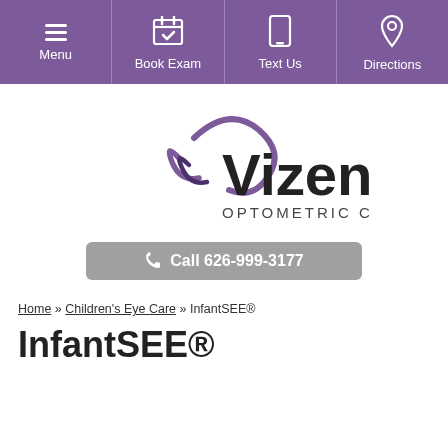[Figure (screenshot): Navigation bar with Menu, Book Exam, Text Us, Directions buttons on purple background]
[Figure (logo): Vizen Optometric Center logo with purple swirl eye graphic and dark text]
Call 626-999-3177
Home » Children's Eye Care » InfantSEE®
InfantSEE®